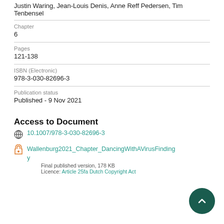Justin Waring, Jean-Louis Denis, Anne Reff Pedersen, Tim Tenbensel
Chapter
6
Pages
121-138
ISBN (Electronic)
978-3-030-82696-3
Publication status
Published - 9 Nov 2021
Access to Document
10.1007/978-3-030-82696-3
Wallenburg2021_Chapter_DancingWithAVirusFinding y
Final published version, 178 KB
Licence: Article 25fa Dutch Copyright Act